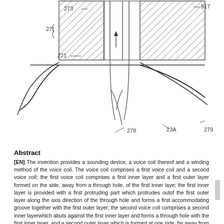[Figure (engineering-diagram): Cross-section technical drawing of a voice coil assembly showing components labeled 273, 27, 271, 917, 278, 23A, 279 with hatched rectangular sections and curved membrane lines]
Abstract
[EN] The invention provides a sounding device, a voice coil thereof and a winding method of the voice coil. The voice coil comprises a first voice coil and a second voice coil; the first voice coil comprises a first inner layer and a first outer layer formed on the side, away from a through hole, of the first inner laye; the first inner layer is provided with a first protruding part which protrudes outof the first outer layer along the axis direction of the through hole and forms a first accommodating groove together with the first outer layer; the second voice coil comprises a second inner layerwhich abuts against the first inner layer and forms a through hole with the first inner layer, and a second outer layer which is formed at one side, far away from the through hole, of the second innerlayer; the second outer layer is provided with a second protruding part protruding out of the second inner layer in the axis direction of the through hole, and forming a second